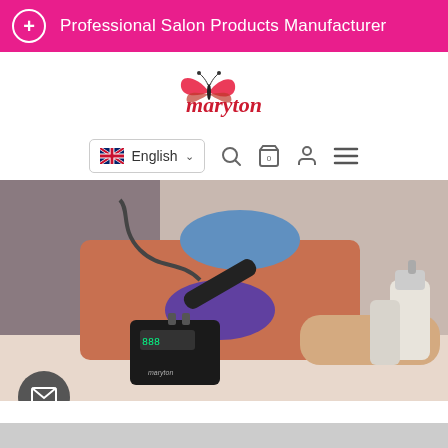Professional Salon Products Manufacturer
[Figure (logo): Maryton butterfly logo with brand name in red]
English
[Figure (photo): Nail technician wearing purple gloves and blue face mask using a Maryton nail drill machine on a client's hand. A black Maryton portable nail drill unit with LED display is visible in the foreground.]
[Figure (other): Mail/envelope icon button]